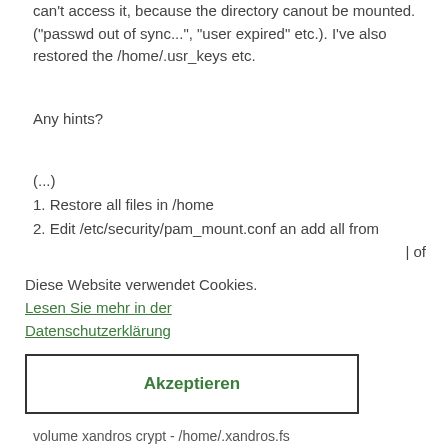can't access it, because the directory canout be mounted. ("passwd out of sync...", "user expired" etc.). I've also restored the /home/.usr_keys etc.
Any hints?
(...)
1. Restore all files in /home
2. Edit /etc/security/pam_mount.conf an add all from
| of
Diese Website verwendet Cookies.
Lesen Sie mehr in der Datenschutzerklärung
Akzeptieren
volume xandros crypt - /home/.xandros.fs